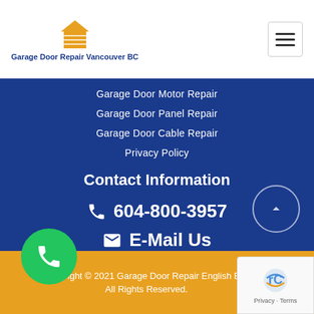Garage Door Repair Vancouver BC
Garage Door Motor Repair
Garage Door Panel Repair
Garage Door Cable Repair
Privacy Policy
Contact Information
604-800-3957
E-Mail Us
Copyright © 2021 Garage Door Repair English Bay All Rights Reserved.